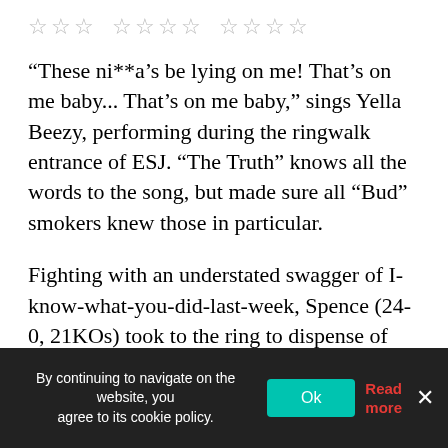[Figure (other): Three groups of rating stars (empty/outline stars), each group showing different number of stars]
“These ni**a’s be lying on me! That’s on me baby... That’s on me baby,” sings Yella Beezy, performing during the ringwalk entrance of ESJ. “The Truth” knows all the words to the song, but made sure all “Bud” smokers knew those in particular.
Fighting with an understated swagger of I-know-what-you-did-last-week, Spence (24-0, 21KOs) took to the ring to dispense of Ocampo (22-1, 13KOs) ASAP, reminding all 12,640 inside a raucous Ford Center at the Star that Rocky was nowhere to be found in the squared circle or anywhere else within the training facility of the Dallas Cowboys.
This morning...
By continuing to navigate on the website, you agree to its cookie policy. Ok Read more ×